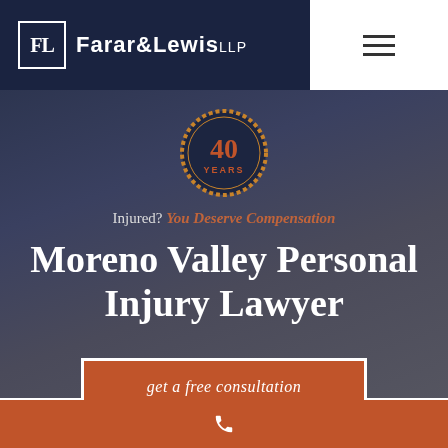[Figure (logo): Farar & Lewis LLP law firm logo with FL monogram in white box on dark navy background]
[Figure (infographic): Circular badge with rope/gear border showing '40 YEARS' in orange text on dark navy background]
Injured? You Deserve Compensation
Moreno Valley Personal Injury Lawyer
get a free consultation
[Figure (illustration): White phone/call icon on orange footer bar]